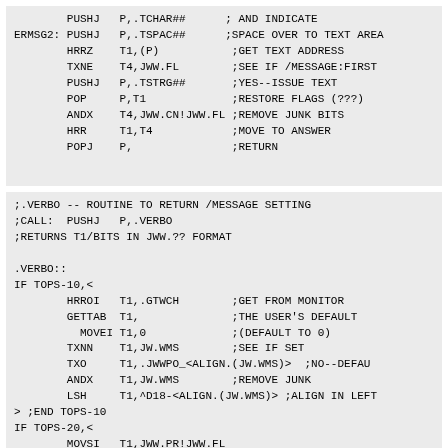PUSHJ P,.TCHAR## ; AND INDICATE
ERMSG2: PUSHJ P,.TSPAC## ;SPACE OVER TO TEXT AREA
        HRRZ T1,(P) ;GET TEXT ADDRESS
        TXNE T4,JWW.FL ;SEE IF /MESSAGE:FIRST
        PUSHJ P,.TSTRG## ;YES--ISSUE TEXT
        POP P,T1 ;RESTORE FLAGS (???)
        ANDX T4,JWW.CN!JWW.FL ;REMOVE JUNK BITS
        HRR T1,T4 ;MOVE TO ANSWER
        POPJ P, ;RETURN
;.VERBO -- ROUTINE TO RETURN /MESSAGE SETTING
;CALL:  PUSHJ   P,.VERBO
;RETURNS T1/BITS IN JWW.?? FORMAT

.VERBO::
IF TOPS-10,<
        HRROI   T1,.GTWCH       ;GET FROM MONITOR
        GETTAB  T1,              ;THE USER'S DEFAULT
          MOVEI T1,0             ;(DEFAULT TO 0)
        TXNN    T1,JW.WMS        ;SEE IF SET
        TXO     T1,.JWWPO_<ALIGN.(JW.WMS)>  ;NO--DEFAULT
        ANDX    T1,JW.WMS        ;REMOVE JUNK
        LSH     T1,^D18-<ALIGN.(JW.WMS)> ;ALIGN IN LEFT
> ;END TOPS-10
IF TOPS-20,<
        MOVSI   T1,JWW.PR!JWW.FL
>

        ANDCM   T1,.FLVRB        ;CLEAR ANY SET IN SWITCH
        HLRZS   T1               ;POSITION TO RIGHT